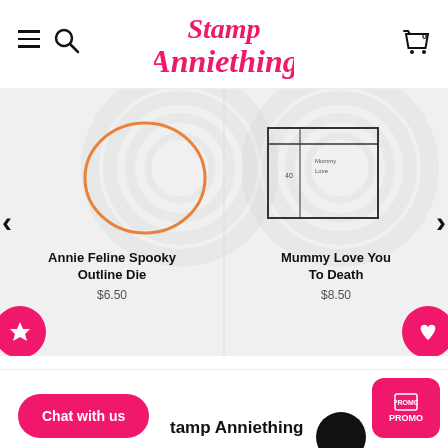Stamp Anniething
[Figure (screenshot): E-commerce website screenshot showing Stamp Anniething logo, navigation icons, two product cards (Annie Feline Spooky Outline Die $6.50 and Mummy Love You To Death $8.50), carousel arrows, star and heart buttons, Chat with us button, and PROMO button.]
Annie Feline Spooky Outline Die
$6.50
Mummy Love You To Death
$8.50
Chat with us
Stamp Anniething